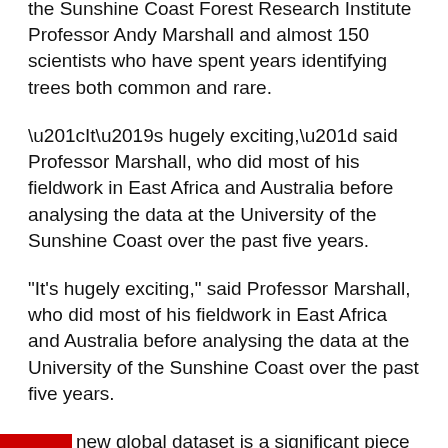the Sunshine Coast Forest Research Institute Professor Andy Marshall and almost 150 scientists who have spent years identifying trees both common and rare.
“It’s hugely exciting,” said Professor Marshall, who did most of his fieldwork in East Africa and Australia before analysing the data at the University of the Sunshine Coast over the past five years.
“This new global dataset is a significant piece of the puzzle in ecology and biodiversity. It’s based on the identification of trees growing in millions of vegetation plots around the world.”
About 9,000 of the 73,000 estimated species are yet to be discovered and will need names and scientific descriptions.